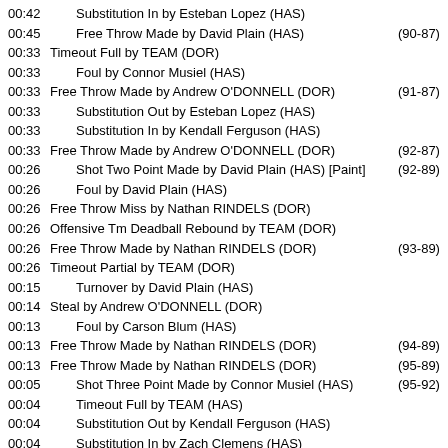| Time | Event | Score | Diff |
| --- | --- | --- | --- |
| 00:42 | Substitution In by Esteban Lopez (HAS) |  |  |
| 00:45 | Free Throw Made by David Plain (HAS) | (90-87) | 3 |
| 00:33 | Timeout Full by TEAM (DOR) |  |  |
| 00:33 | Foul by Connor Musiel (HAS) |  |  |
| 00:33 | Free Throw Made by Andrew O'DONNELL (DOR) | (91-87) | 4 |
| 00:33 | Substitution Out by Esteban Lopez (HAS) |  |  |
| 00:33 | Substitution In by Kendall Ferguson (HAS) |  |  |
| 00:33 | Free Throw Made by Andrew O'DONNELL (DOR) | (92-87) | 5 |
| 00:26 | Shot Two Point Made by David Plain (HAS) [Paint] | (92-89) | 3 |
| 00:26 | Foul by David Plain (HAS) |  |  |
| 00:26 | Free Throw Miss by Nathan RINDELS (DOR) |  |  |
| 00:26 | Offensive Tm Deadball Rebound by TEAM (DOR) |  |  |
| 00:26 | Free Throw Made by Nathan RINDELS (DOR) | (93-89) | 4 |
| 00:26 | Timeout Partial by TEAM (DOR) |  |  |
| 00:15 | Turnover by David Plain (HAS) |  |  |
| 00:14 | Steal by Andrew O'DONNELL (DOR) |  |  |
| 00:13 | Foul by Carson Blum (HAS) |  |  |
| 00:13 | Free Throw Made by Nathan RINDELS (DOR) | (94-89) | 5 |
| 00:13 | Free Throw Made by Nathan RINDELS (DOR) | (95-89) | 6 |
| 00:05 | Shot Three Point Made by Connor Musiel (HAS) | (95-92) | 3 |
| 00:04 | Timeout Full by TEAM (HAS) |  |  |
| 00:04 | Substitution Out by Kendall Ferguson (HAS) |  |  |
| 00:04 | Substitution In by Zach Clemens (HAS) |  |  |
| 00:04 | Substitution Out by Leighton SAMPSON (DOR) |  |  |
| 00:04 | Substitution In by Alec HENRICKSON (DOR) |  |  |
| 00:04 | Foul by Jake Hansen (HAS) |  |  |
| 00:04 | Timeout Partial by TEAM (HAS) |  |  |
| 00:04 | Substitution Out by Zach Clemens (HAS) |  |  |
| 00:04 | Substitution In by Kendall Ferguson (HAS) |  |  |